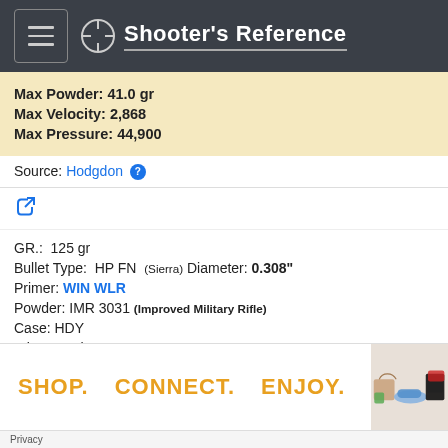Shooter's Reference
Max Powder: 41.0 gr
Max Velocity: 2,868
Max Pressure: 44,900
Source: Hodgdon
GR.: 125 gr
Bullet Type: HP FN (Sierra) Diameter: 0.308"
Primer: WIN WLR
Powder: IMR 3031 (Improved Military Rifle)
Case: HDY
Trim Length: 1.910"
C.O.L.: 2.300"
Privacy